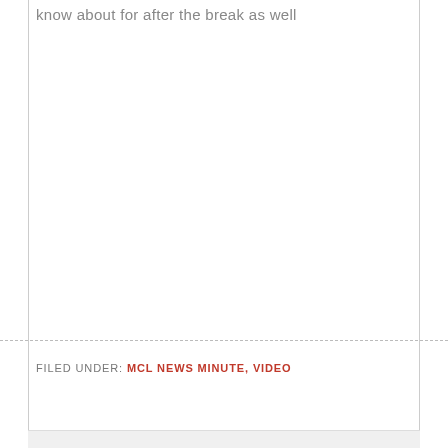know about for after the break as well
FILED UNDER: MCL NEWS MINUTE, VIDEO